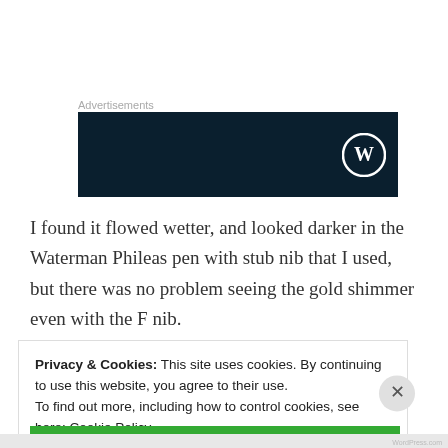Advertisements
[Figure (logo): Dark navy blue advertisement banner with WordPress logo (W in circle) on the right side]
I found it flowed wetter, and looked darker in the Waterman Phileas pen with stub nib that I used, but there was no problem seeing the gold shimmer even with the F nib.
Privacy & Cookies: This site uses cookies. By continuing to use this website, you agree to their use.
To find out more, including how to control cookies, see here: Cookie Policy
Close and accept